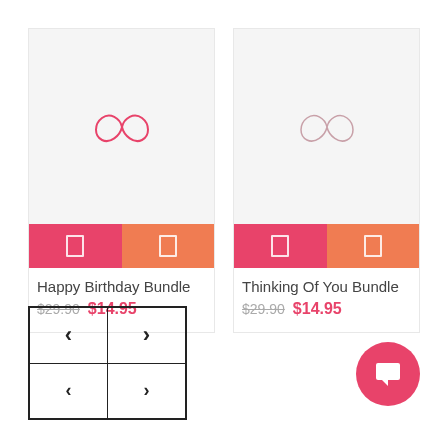[Figure (screenshot): Product card for Happy Birthday Bundle showing a pink infinity-style logo on light grey background, two action buttons (pink and orange), product title and pricing]
Happy Birthday Bundle
$29.90  $14.95
[Figure (screenshot): Product card for Thinking Of You Bundle showing a pink infinity-style logo on light grey background, two action buttons (pink and orange), product title and pricing]
Thinking Of You Bundle
$29.90  $14.95
[Figure (other): Navigation control box with left and right arrow buttons in two rows]